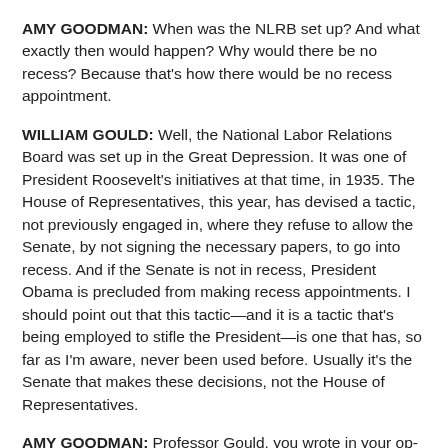AMY GOODMAN: When was the NLRB set up? And what exactly then would happen? Why would there be no recess? Because that's how there would be no recess appointment.
WILLIAM GOULD: Well, the National Labor Relations Board was set up in the Great Depression. It was one of President Roosevelt's initiatives at that time, in 1935. The House of Representatives, this year, has devised a tactic, not previously engaged in, where they refuse to allow the Senate, by not signing the necessary papers, to go into recess. And if the Senate is not in recess, President Obama is precluded from making recess appointments. I should point out that this tactic—and it is a tactic that's being employed to stifle the President—is one that has, so far as I'm aware, never been used before. Usually it's the Senate that makes these decisions, not the House of Representatives.
AMY GOODMAN: Professor Gould, you wrote in your op-ed piece in the New York Times, "Workers illegally fired for union organizing won't be reinstated with back pay...